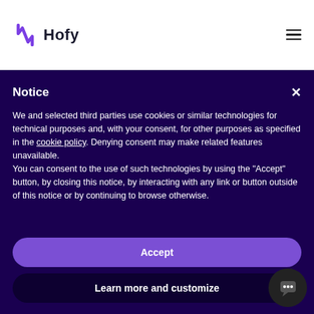[Figure (logo): Hofy logo with purple H icon and text 'Hofy']
Notice
We and selected third parties use cookies or similar technologies for technical purposes and, with your consent, for other purposes as specified in the cookie policy. Denying consent may make related features unavailable.
You can consent to the use of such technologies by using the "Accept" button, by closing this notice, by interacting with any link or button outside of this notice or by continuing to browse otherwise.
Accept
Learn more and customize